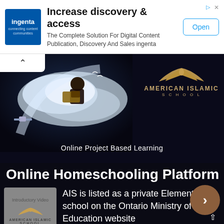[Figure (screenshot): Ingenta logo — blue square with white 'ingenta' text and tagline]
Increase discovery & access
The Complete Solution For Digital Content Publication, Discovery And Sales ingenta
Open
[Figure (illustration): American Islamic School promotional banner: dark background with swirling clouds, figure reading a book, satellite imagery, AIS golden wing logo, and text 'Online Project Based Learning']
Online Homeschooling Platform
[Figure (logo): American Islamic School introductory video thumbnail with logo]
AIS is listed as a private Elementary school on the Ontario Ministry of Education website